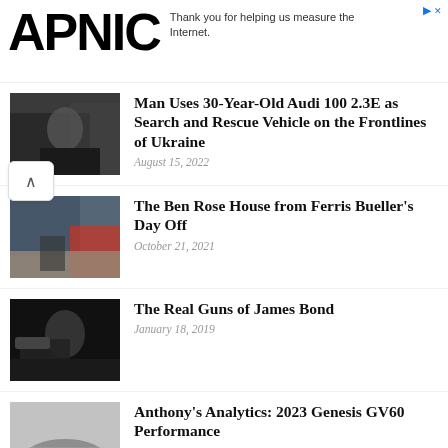APNIC
Thank you for helping us measure the Internet.
Man Uses 30-Year-Old Audi 100 2.3E as Search and Rescue Vehicle on the Frontlines of Ukraine — August 15, 2022
The Ben Rose House from Ferris Bueller's Day Off — October 21, 2021
The Real Guns of James Bond — January 18, 2019
Anthony's Analytics: 2023 Genesis GV60 Performance — August 15, 2022
The Aston Martin DBR22 — August 15, 2022